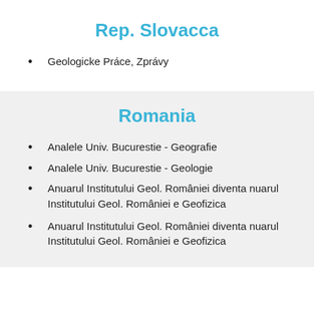Rep. Slovacca
Geologicke Práce, Zprávy
Romania
Analele Univ. Bucurestie - Geografie
Analele Univ. Bucurestie - Geologie
Anuarul Institutului Geol. României diventa nuarul Institutului Geol. României e Geofizica
Anuarul Institutului Geol. României diventa nuarul Institutului Geol. României e Geofizica